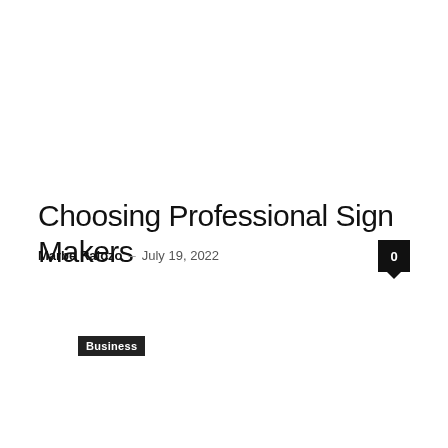Business
Choosing Professional Sign Makers
Marbe Ralozo – July 19, 2022
0